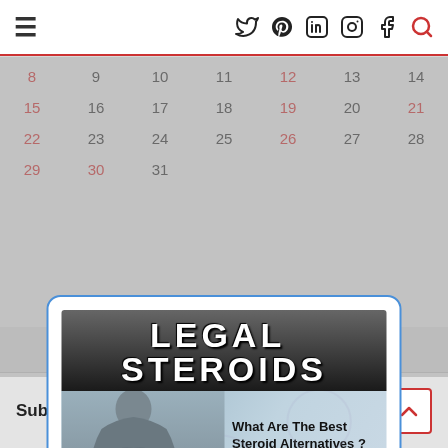≡ (hamburger menu) | Twitter Pinterest LinkedIn Instagram Facebook (search icon)
| 8 | 9 | 10 | 11 | 12 | 13 | 14 |
| 15 | 16 | 17 | 18 | 19 | 20 | 21 |
| 22 | 23 | 24 | 25 | 26 | 27 | 28 |
| 29 | 30 | 31 |  |  |  |  |
[Figure (advertisement): Legal Steroids ad popup with muscular figure. Text: 'LEGAL STEROIDS', 'What Are The Best Steroid Alternatives?', 'NO BANNED SUBSTANCES' with a ban symbol. Blue border modal dialog with CLOSE button.]
CLOSE
Subscribe to our Newsletter!